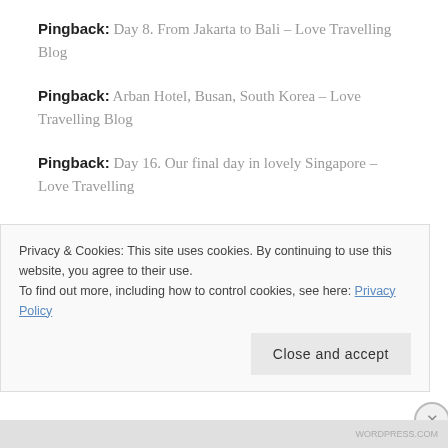Pingback: Day 8. From Jakarta to Bali – Love Travelling Blog
Pingback: Arban Hotel, Busan, South Korea – Love Travelling Blog
Pingback: Day 16. Our final day in lovely Singapore – Love Travelling
Pingback: Day 9. Arriving in Singapore – Love Travelling
Privacy & Cookies: This site uses cookies. By continuing to use this website, you agree to their use.
To find out more, including how to control cookies, see here: Privacy Policy